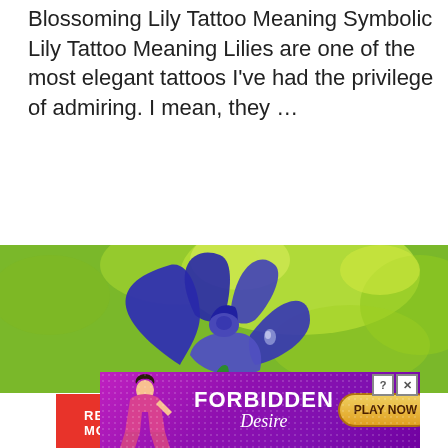Blossoming Lily Tattoo Meaning Symbolic Lily Tattoo Meaning Lilies are one of the most elegant tattoos I've had the privilege of admiring. I mean, they …
READ MORE
[Figure (photo): Close-up photo of a purple/blue iris flower against a blurred bright green background]
[Figure (other): Advertisement banner for 'Forbidden Desire' with purple gradient background, female silhouette, and 'PLAY NOW' button]